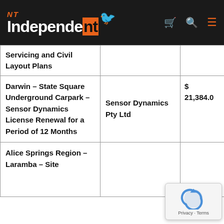NT Independent
| Description | Supplier | Value |
| --- | --- | --- |
| Servicing and Civil Layout Plans |  |  |
| Darwin – State Square Underground Carpark – Sensor Dynamics License Renewal for a Period of 12 Months | Sensor Dynamics Pty Ltd | $ 21,384.0 |
| Alice Springs Region – Laramba – Site ... | ... | $ |